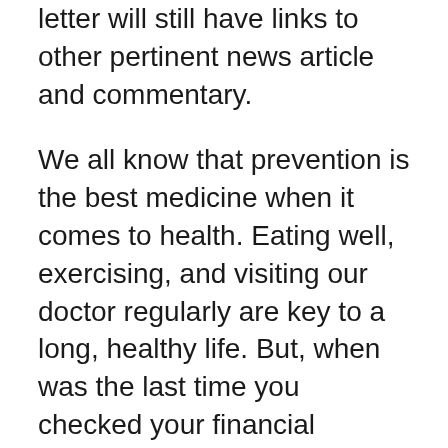letter will still have links to other pertinent news article and commentary.
We all know that prevention is the best medicine when it comes to health. Eating well, exercising, and visiting our doctor regularly are key to a long, healthy life. But, when was the last time you checked your financial health?
April is a good time to take your financial vital signs. It seems exceptionally apropos as we just finished tax season which can be a reality check.